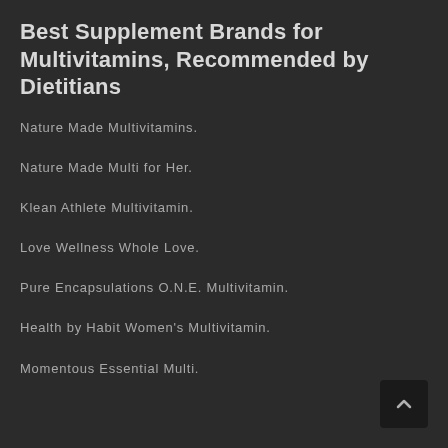Best Supplement Brands for Multivitamins, Recommended by Dietitians
Nature Made Multivitamins.
Nature Made Multi for Her.
Klean Athlete Multivitamin.
Love Wellness Whole Love.
Pure Encapsulations O.N.E. Multivitamin.
Health by Habit Women's Multivitamin.
Momentous Essential Multi.